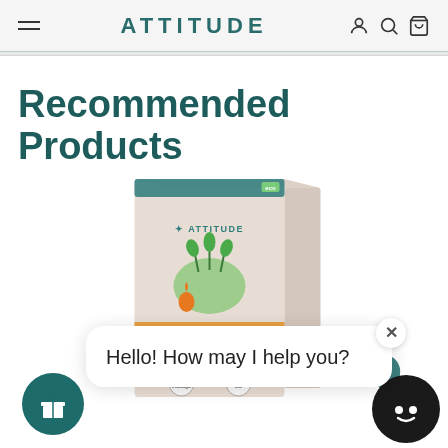ATTITUDE
Recommended Products
[Figure (photo): ATTITUDE Laundry Detergent product box with plant illustrations and orange accent stripe]
Hello! How may I help you?